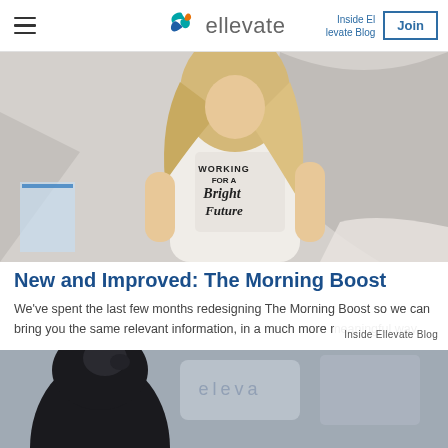ellevate — Inside Ellevate Blog — Join
[Figure (photo): Woman wearing a white t-shirt that reads 'Working for a Bright Future', painting or drawing on a large surface.]
New and Improved: The Morning Boost
We've spent the last few months redesigning The Morning Boost so we can bring you the same relevant information, in a much more meaningful way.
Inside Ellevate Blog
[Figure (photo): Person with dark hair seen from behind, in a blurred indoor setting.]